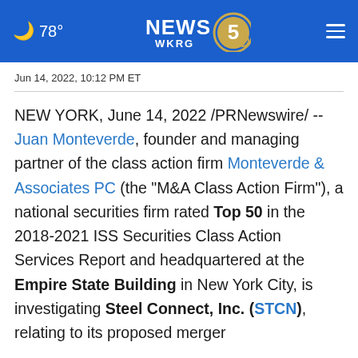78° NEWS 5 WKRG
Jun 14, 2022, 10:12 PM ET
NEW YORK, June 14, 2022 /PRNewswire/ -- Juan Monteverde, founder and managing partner of the class action firm Monteverde & Associates PC (the "M&A Class Action Firm"), a national securities firm rated Top 50 in the 2018-2021 ISS Securities Class Action Services Report and headquartered at the Empire State Building in New York City, is investigating Steel Connect, Inc. (STCN), relating to its proposed merger